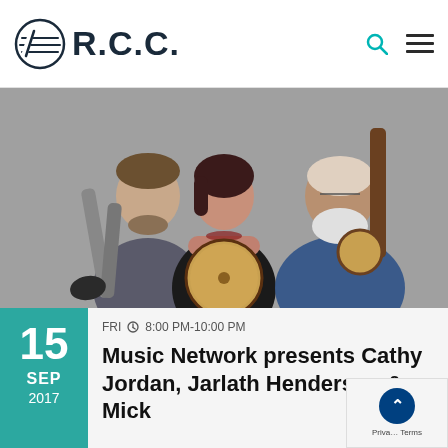R.C.C.
[Figure (photo): Three musicians posing together: a younger man on the left holding a trumpet/uilleann pipes, a woman in the center in a black lace off-shoulder top holding a bodhran drum, and an older bearded man on the right holding a banjo. Gray studio background.]
FRI ⏱ 8:00 PM-10:00 PM
Music Network presents Cathy Jordan, Jarlath Henderson & Mick